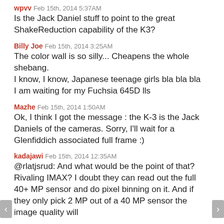wpvv Feb 15th, 2014 5:37AM
Is the Jack Daniel stuff to point to the great ShakeReduction capability of the K3?
Billy Joe Feb 15th, 2014 3:25AM
The color wall is so silly... Cheapens the whole shebang.
I know, I know, Japanese teenage girls bla bla bla
I am waiting for my Fuchsia 645D lls
Mazhe Feb 15th, 2014 1:50AM
Ok, I think I got the message : the K-3 is the Jack Daniels of the cameras. Sorry, I'll wait for a Glenfiddich associated full frame :)
kadajawi Feb 15th, 2014 12:35AM
@rlatjsrud: And what would be the point of that? Rivaling IMAX? I doubt they can read out the full 40+ MP sensor and do pixel binning on it. And if they only pick 2 MP out of a 40 MP sensor the image quality will